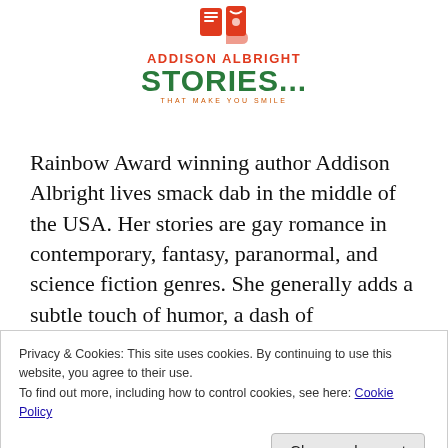[Figure (logo): Addison Albright Stories logo with icon graphics, red name text, green STORIES... text, and orange tagline 'THAT MAKE YOU SMILE']
Rainbow Award winning author Addison Albright lives smack dab in the middle of the USA. Her stories are gay romance in contemporary, fantasy, paranormal, and science fiction genres. She generally adds a subtle touch of humor, a dash of drama/angst, and a sprinkle of slice-of-life to her stories.
Privacy & Cookies: This site uses cookies. By continuing to use this website, you agree to their use.
To find out more, including how to control cookies, see here: Cookie Policy
window weather," cats, math, and anything